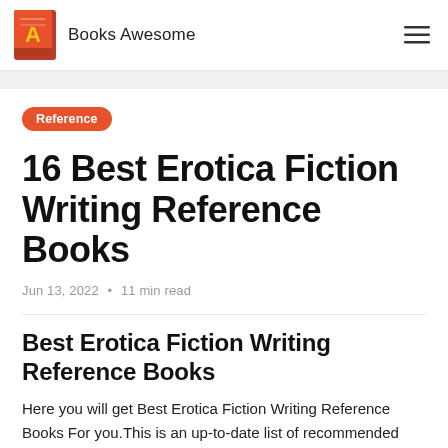Books Awesome
Reference
16 Best Erotica Fiction Writing Reference Books
Jun 13, 2022 • 11 min read
Best Erotica Fiction Writing Reference Books
Here you will get Best Erotica Fiction Writing Reference Books For you.This is an up-to-date list of recommended